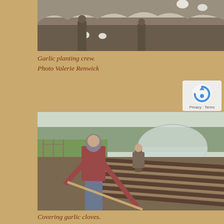[Figure (photo): Garlic planting crew working in a field, people visible against trees and sky]
Garlic planting crew.
Photo Valerie Renwick
[Figure (photo): Person covering garlic cloves in a field with a rake/hoe, greenhouse structure visible in background, rows of mulched beds visible]
Covering garlic cloves.
Photo Brittany Jarvis